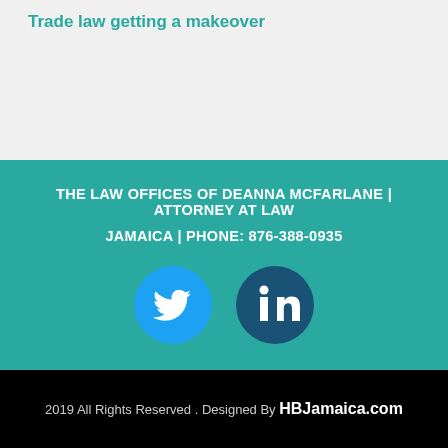Trade law getting a makeover
THE LAW OFFICES OF DEANNA MCFARLANE | ATTORNEY AT LAW
JAMAICA | PHONE: 876-388-0935
[Figure (illustration): Twitter bird icon (blue circle) and LinkedIn 'in' icon (dark teal circle) social media buttons]
2019 All Rights Reserved .  Designed By HBJamaica.com